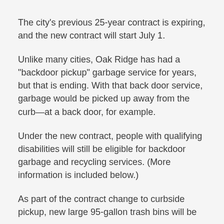The city's previous 25-year contract is expiring, and the new contract will start July 1.
Unlike many cities, Oak Ridge has had a "backdoor pickup" garbage service for years, but that is ending. With that back door service, garbage would be picked up away from the curb—at a back door, for example.
Under the new contract, people with qualifying disabilities will still be eligible for backdoor garbage and recycling services. (More information is included below.)
As part of the contract change to curbside pickup, new large 95-gallon trash bins will be provided to...